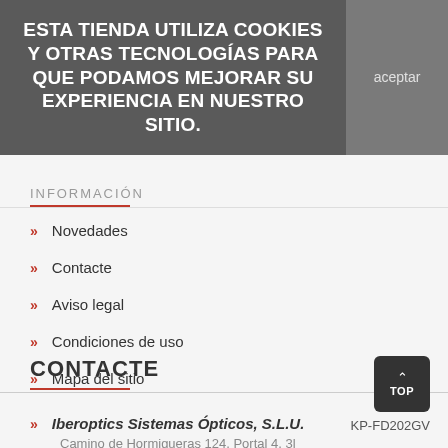ESTA TIENDA UTILIZA COOKIES Y OTRAS TECNOLOGÍAS PARA QUE PODAMOS MEJORAR SU EXPERIENCIA EN NUESTRO SITIO.
aceptar
INFORMACIÓN
Novedades
Contacte
Aviso legal
Condiciones de uso
Mapa del sitio
CONTACTE
KP-FD202GV
Iberoptics Sistemas Ópticos, S.L.U.
Camino de Hormigueras 124, Portal 4, 3l